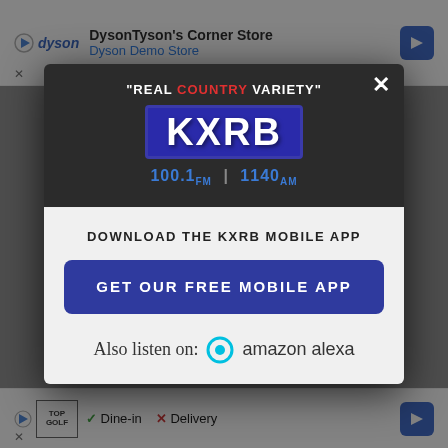[Figure (screenshot): Dyson ad banner at top: DysonTyson's Corner Store · Dyson Demo Store, with navigation arrow icon]
[Figure (screenshot): KXRB radio station modal popup with logo, download CTA, and Amazon Alexa listen option. Header shows 'REAL COUNTRY VARIETY' tagline, KXRB logo box, 100.1 FM | 1140 AM. Body shows DOWNLOAD THE KXRB MOBILE APP text, GET OUR FREE MOBILE APP blue button, Also listen on: amazon alexa]
[Figure (screenshot): TopGolf ad banner at bottom: Dine-in checkmark, Delivery X mark, navigation arrow icon]